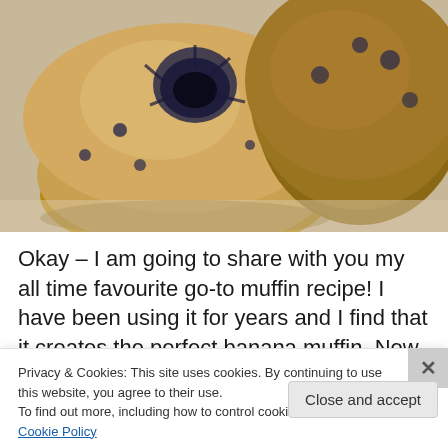[Figure (photo): Close-up photo of two blueberry muffins on a light surface. The muffins have golden-brown tops with visible blueberries, one showing a burst blueberry on top.]
Okay – I am going to share with you my all time favourite go-to muffin recipe! I have been using it for years and I find that it creates the perfect banana muffin. Now
Privacy & Cookies: This site uses cookies. By continuing to use this website, you agree to their use.
To find out more, including how to control cookies, see here: Cookie Policy
Close and accept